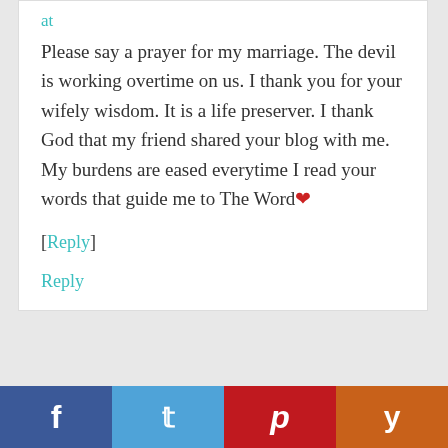at
Please say a prayer for my marriage. The devil is working overtime on us. I thank you for your wifely wisdom. It is a life preserver. I thank God that my friend shared your blog with me. My burdens are eased everytime I read your words that guide me to The Word❤
[Reply]
Reply